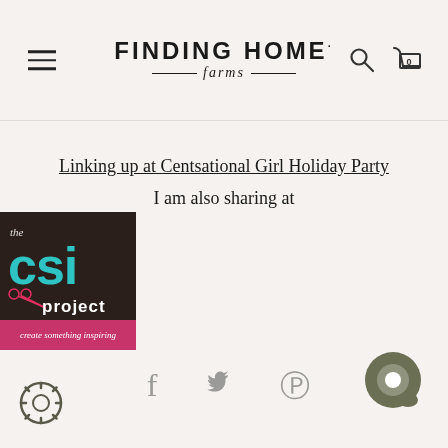FINDING HOME farms
Linking up at Centsational Girl Holiday Party
I am also sharing at
[Figure (logo): The CSI Project logo — dark brown/black background with teal 'csi' lettering, red scissors, and 'project' in white. Bottom pink band reads 'create something inspiring'.]
[Figure (infographic): Social share icons: Facebook (f), Twitter bird, Pinterest (P)]